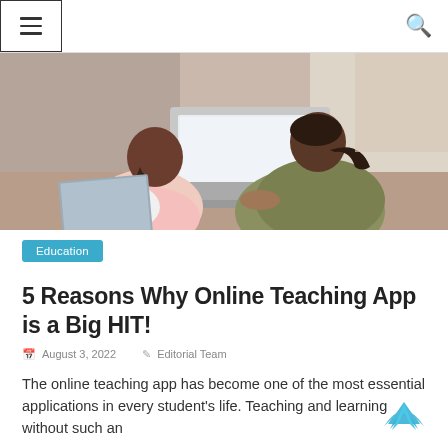≡  [navigation menu]  🔍
[Figure (photo): Two people viewed from behind, a child with braided hair and an adult, both looking at a laptop computer on a table]
Education
5 Reasons Why Online Teaching App is a Big HIT!
August 3, 2022   Editorial Team
The online teaching app has become one of the most essential applications in every student's life. Teaching and learning without such an